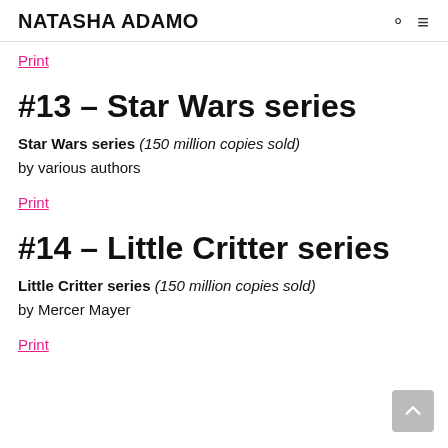NATASHA ADAMO
Print
#13 – Star Wars series
Star Wars series (150 million copies sold) by various authors
Print
#14 – Little Critter series
Little Critter series (150 million copies sold) by Mercer Mayer
Print